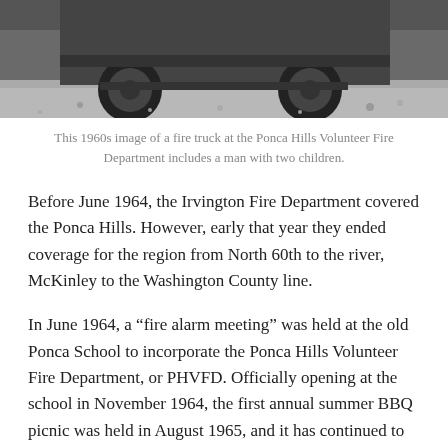[Figure (photo): Black and white 1960s photograph showing the bottom portion of a fire truck with wheels visible on a gravel surface.]
This 1960s image of a fire truck at the Ponca Hills Volunteer Fire Department includes a man with two children.
Before June 1964, the Irvington Fire Department covered the Ponca Hills. However, early that year they ended coverage for the region from North 60th to the river, McKinley to the Washington County line.
In June 1964, a “fire alarm meeting” was held at the old Ponca School to incorporate the Ponca Hills Volunteer Fire Department, or PHVFD. Officially opening at the school in November 1964, the first annual summer BBQ picnic was held in August 1965, and it has continued to be a tremendous fundraiser for their activities. Its been held annually since then, and has included BBQ meats, boiled